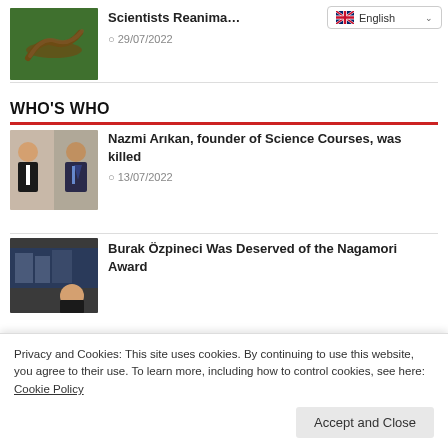[Figure (photo): Thumbnail photo of a snake or reptile on green leaves]
Scientists Reanima...
29/07/2022
[Figure (screenshot): English language selector dropdown in top right corner]
WHO'S WHO
[Figure (photo): Two men in suits - Nazmi Arıkan article thumbnail]
Nazmi Arıkan, founder of Science Courses, was killed
13/07/2022
[Figure (photo): Building exterior with person - Burak Özpineci article thumbnail]
Burak Özpineci Was Deserved of the Nagamori Award
Privacy and Cookies: This site uses cookies. By continuing to use this website, you agree to their use. To learn more, including how to control cookies, see here: Cookie Policy
Accept and Close